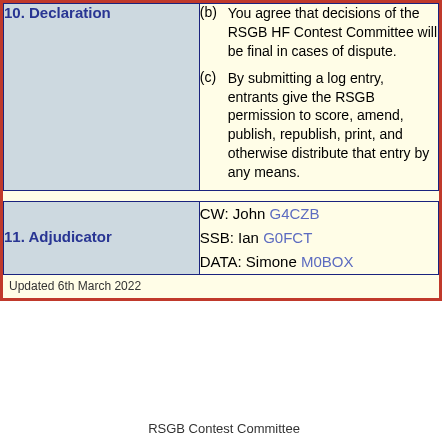10. Declaration
(b) You agree that decisions of the RSGB HF Contest Committee will be final in cases of dispute.
(c) By submitting a log entry, entrants give the RSGB permission to score, amend, publish, republish, print, and otherwise distribute that entry by any means.
11. Adjudicator
CW: John G4CZB
SSB: Ian G0FCT
DATA: Simone M0BOX
Updated 6th March 2022
RSGB Contest Committee